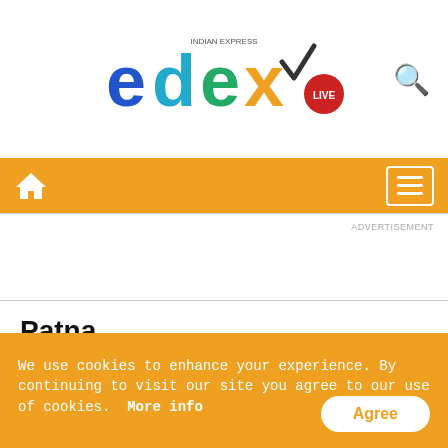[Figure (logo): Edex Live logo — Indian Express branded education news site logo with colorful letters e, d, e, x and a red circle with LIVE text, plus checkmark]
Navigation bar with home icon and hamburger menu on orange background
ADVERTISEMENT
Patna
Published: 16th May 2022
We use cookies to enhance your experience. By continuing to visit our site you agree to our use of cookies.  More info